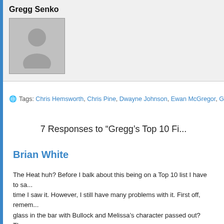Gregg Senko
[Figure (photo): Default user avatar placeholder image showing a generic person silhouette on grey background]
Tags: Chris Hemsworth, Chris Pine, Dwayne Johnson, Ewan McGregor, Ge... Michael Bay, Naomi...
7 Responses to “Gregg’s Top 10 Fi...
Brian White
The Heat huh? Before I balk about this being on a Top 10 list I have to sa... time I saw it. However, I still have many problems with it. First off, remem... glass in the bar with Bullock and Melissa’s character passed out? They c... out at the site of blood in another scene. Made absolutely no sense and r... that, did you see they are doing a spin off of this film? And I am still not a... vulgar all the time for no reason at all in everything she does.